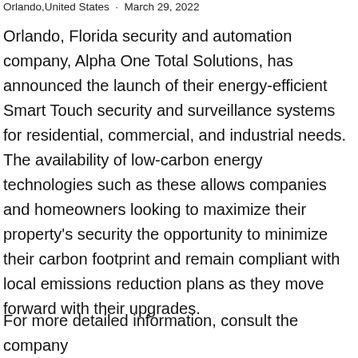Orlando,United States · March 29, 2022
Orlando, Florida security and automation company, Alpha One Total Solutions, has announced the launch of their energy-efficient Smart Touch security and surveillance systems for residential, commercial, and industrial needs. The availability of low-carbon energy technologies such as these allows companies and homeowners looking to maximize their property's security the opportunity to minimize their carbon footprint and remain compliant with local emissions reduction plans as they move forward with their upgrades.
For more detailed information, consult the company website at https://alphaonett.totalsolutions.com